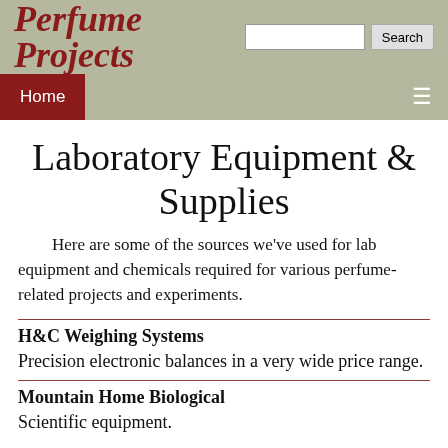Perfume Projects
Laboratory Equipment & Supplies
Here are some of the sources we've used for lab equipment and chemicals required for various perfume-related projects and experiments.
H&C Weighing Systems
Precision electronic balances in a very wide price range.
Mountain Home Biological
Scientific equipment.